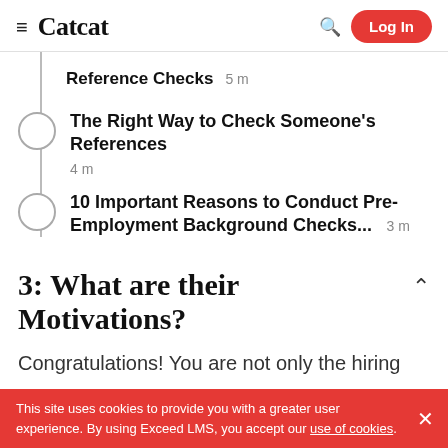Catcat — Log In
Reference Checks  5 m
The Right Way to Check Someone's References  4 m
10 Important Reasons to Conduct Pre-Employment Background Checks...  3 m
3: What are their Motivations?
Congratulations! You are not only the hiring
This site uses cookies to provide you with a greater user experience. By using Exceed LMS, you accept our use of cookies.